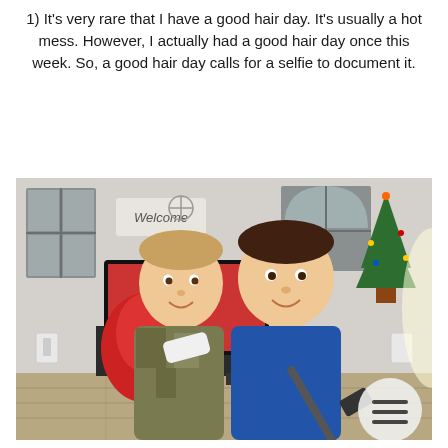1) It's very rare that I have a good hair day. It's usually a hot mess. However, I actually had a good hair day once this week. So, a good hair day calls for a selfie to document it.
[Figure (photo): Two young boys smiling at the camera in a living room. A TV, a Welcome sign, window decorations, and a Christmas tree are visible in the background. One boy wears a camo jacket and the other a blue shirt. A selfie stick or similar object is held in front.]